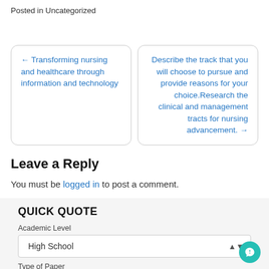Posted in Uncategorized
← Transforming nursing and healthcare through information and technology
Describe the track that you will choose to pursue and provide reasons for your choice.Research the clinical and management tracts for nursing advancement. →
Leave a Reply
You must be logged in to post a comment.
QUICK QUOTE
Academic Level
High School
Type of Paper